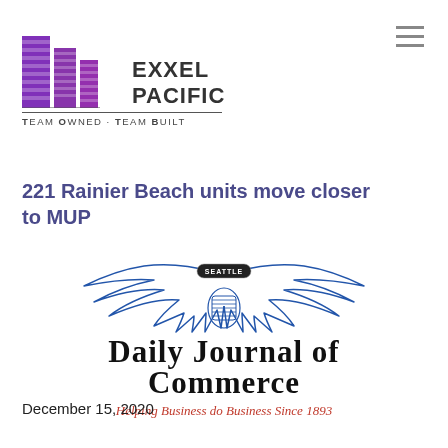[Figure (logo): Exxel Pacific logo with purple building graphic and text EXXEL PACIFIC, TEAM OWNED - TEAM BUILT]
[Figure (other): Hamburger menu icon (three horizontal lines)]
221 Rainier Beach units move closer to MUP
[Figure (logo): Seattle Daily Journal of Commerce logo with eagle wings graphic and text DAILY JOURNAL OF COMMERCE, Helping Business do Business Since 1893]
December 15, 2020